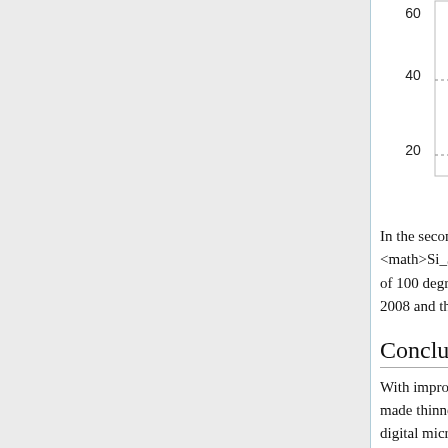[Figure (continuous-plot): Partial view of a graph showing contact angle vs DC or 1kHz Square Wave Voltage. Y-axis shows values 20, 40, and a partial top value (~60). X-axis shows values 0, 4, 8. Legend entries: 'DC - 1 wt. % SDS' and 'AC - 1 wt. % SDS'. Curves visible at top right.]
DC or 1kHz Square Wave V...
In the second example of Cytop with a layer of <math>Si_3N_4</math>, enormous contact angle changes on the order of 100 degrees or more with < 15 volts. This is from work published in 2008 and thus represents one of the most recent results.
Conclusion
With improving surface chemistries and dielectric materials that can be made thinner without electric breakdown, the future for electrowetting digital microfluidic devices is bright. As of now